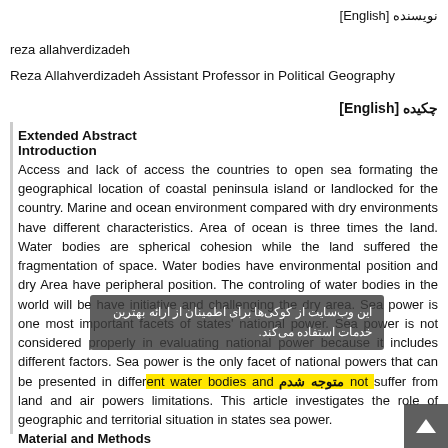نویسنده [English]
reza allahverdizadeh
Reza Allahverdizadeh Assistant Professor in Political Geography
چکیده [English]
Extended Abstract
Introduction
Access and lack of access the countries to open sea formating the geographical location of coastal peninsula island or landlocked for the country. Marine and ocean environment compared with dry environments have different characteristics. Area of ocean is three times the land. Water bodies are spherical cohesion while the land suffered the fragmentation of space. Water bodies have environmental position and dry Area have peripheral position. The controling of water bodies in the world will be have initiative and challenging the dry area. Sea power is one most important facets of states' national power. Sea power is not considered properly in evaluating national power because it includes different factors. Sea power is the only facet of national powers that can be presented in different water bodies and not suffer from land and air powers limitations. This article investigates the role of geographic and territorial situation in states sea power.
Material and Methods